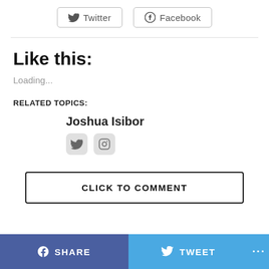[Figure (other): Twitter and Facebook share buttons at top of page]
Like this:
Loading...
RELATED TOPICS:
Joshua Isibor
[Figure (other): Twitter and Instagram social media icon buttons for author Joshua Isibor]
CLICK TO COMMENT
SHARE   TWEET   ...